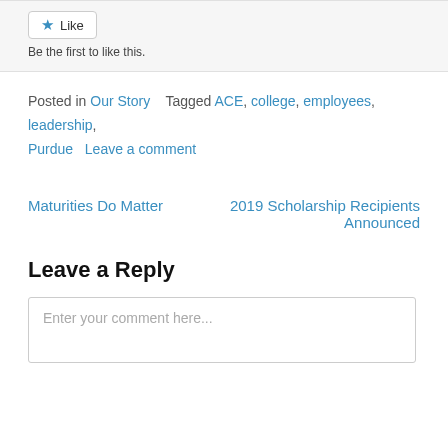Like | Be the first to like this.
Posted in Our Story   Tagged ACE, college, employees, leadership, Purdue   Leave a comment
Maturities Do Matter   2019 Scholarship Recipients Announced
Leave a Reply
Enter your comment here...